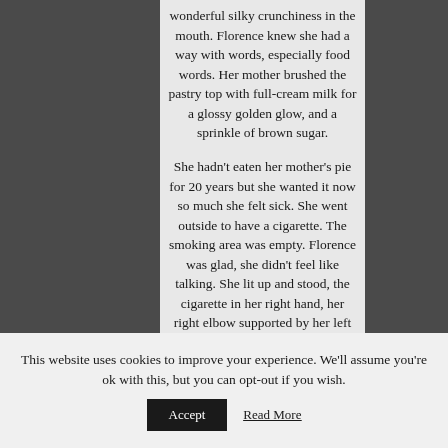wonderful silky crunchiness in the mouth. Florence knew she had a way with words, especially food words. Her mother brushed the pastry top with full-cream milk for a glossy golden glow, and a sprinkle of brown sugar.

She hadn't eaten her mother's pie for 20 years but she wanted it now so much she felt sick. She went outside to have a cigarette. The smoking area was empty. Florence was glad, she didn't feel like talking. She lit up and stood, the cigarette in her right hand, her right elbow supported by her left arm which crossed her chest.
This website uses cookies to improve your experience. We'll assume you're ok with this, but you can opt-out if you wish.